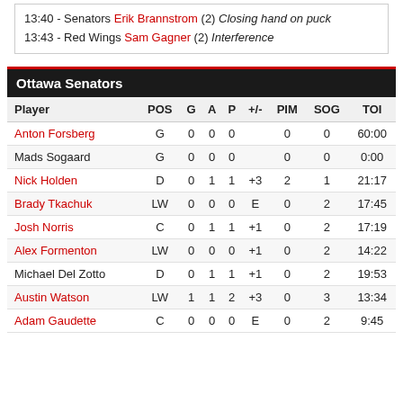13:40 - Senators Erik Brannstrom (2) Closing hand on puck
13:43 - Red Wings Sam Gagner (2) Interference
Ottawa Senators
| Player | POS | G | A | P | +/- | PIM | SOG | TOI |
| --- | --- | --- | --- | --- | --- | --- | --- | --- |
| Anton Forsberg | G | 0 | 0 | 0 |  | 0 | 0 | 60:00 |
| Mads Sogaard | G | 0 | 0 | 0 |  | 0 | 0 | 0:00 |
| Nick Holden | D | 0 | 1 | 1 | +3 | 2 | 1 | 21:17 |
| Brady Tkachuk | LW | 0 | 0 | 0 | E | 0 | 2 | 17:45 |
| Josh Norris | C | 0 | 1 | 1 | +1 | 0 | 2 | 17:19 |
| Alex Formenton | LW | 0 | 0 | 0 | +1 | 0 | 2 | 14:22 |
| Michael Del Zotto | D | 0 | 1 | 1 | +1 | 0 | 2 | 19:53 |
| Austin Watson | LW | 1 | 1 | 2 | +3 | 0 | 3 | 13:34 |
| Adam Gaudette | C | 0 | 0 | 0 | E | 0 | 2 | 9:45 |